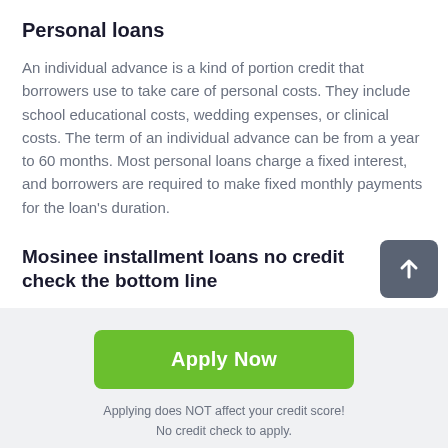Personal loans
An individual advance is a kind of portion credit that borrowers use to take care of personal costs. They include school educational costs, wedding expenses, or clinical costs. The term of an individual advance can be from a year to 60 months. Most personal loans charge a fixed interest, and borrowers are required to make fixed monthly payments for the loan's duration.
Mosinee installment loans no credit check the bottom line
[Figure (other): Green Apply Now button]
Applying does NOT affect your credit score!
No credit check to apply.